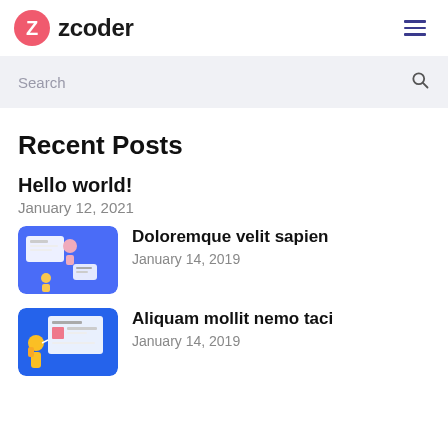zcoder
Search
Recent Posts
Hello world!
January 12, 2021
[Figure (illustration): Illustration showing web/UI elements with characters on blue background]
Doloremque velit sapien
January 14, 2019
[Figure (illustration): Illustration showing a person with data/chart elements on blue background]
Aliquam mollit nemo taci
January 14, 2019